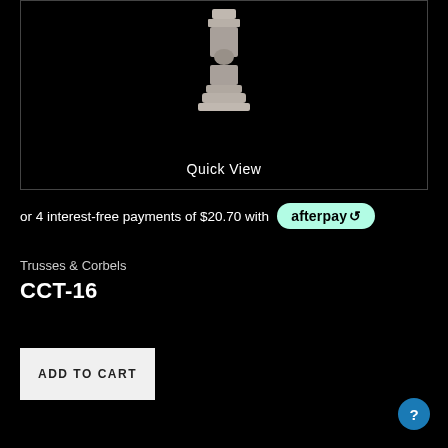[Figure (photo): Product photo of a decorative corbel (CCT-16) against a black background, showing the architectural trim piece in grey/silver tone, partially visible at top center. Has a 'Quick View' text overlay at the bottom of the image box.]
or 4 interest-free payments of $20.70 with afterpay
Trusses & Corbels
CCT-16
ADD TO CART